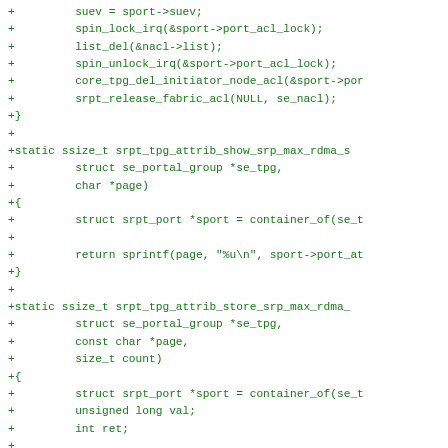Code diff showing C source additions for srpt_tpg_attrib functions including spin_lock_irq, list_del, spin_unlock_irq, core_tpg_del_initiator_node_acl, srpt_release_fabric_acl, srpt_tpg_attrib_show_srp_max_rdma_s, srpt_tpg_attrib_store_srp_max_rdma_ with struct and return statements.